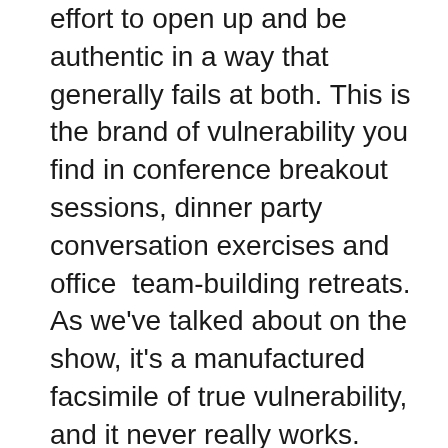effort to open up and be authentic in a way that generally fails at both. This is the brand of vulnerability you find in conference breakout sessions, dinner party conversation exercises and office team-building retreats. As we've talked about on the show, it's a manufactured facsimile of true vulnerability, and it never really works.
The key to unforgettable vulnerability is to engage in that vulnerability for the right reasons.
If we open up to achieve something specific, be seen a certain way, win someone's approval or sympathy, or even be more memorable, then we're not truly being